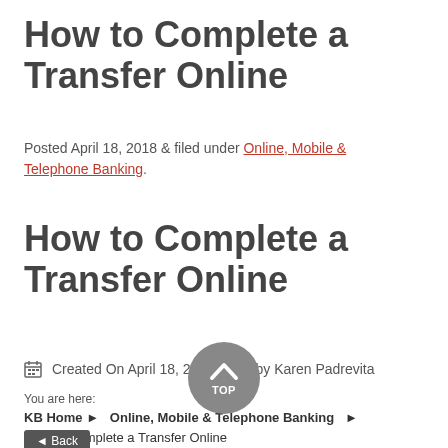How to Complete a Transfer Online
Posted April 18, 2018 & filed under Online, Mobile & Telephone Banking.
How to Complete a Transfer Online
Created On April 18, 2018  by Karen Padrevita
You are here:
KB Home ► Online, Mobile & Telephone Banking ► How to Complete a Transfer Online